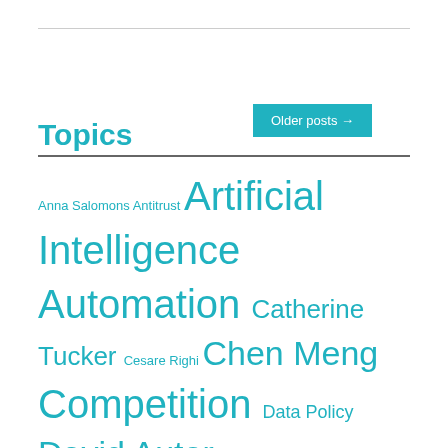Older posts →
Topics
Anna Salomons Antitrust Artificial Intelligence Automation Catherine Tucker Cesare Righi Chen Meng Competition Data Policy David Autor Economic Dynamism Economic Inequality Emil Palikot Erich Denk Filippo Mezzanotti Gender Inequality Globalization Iain Scotchmer Holly Information